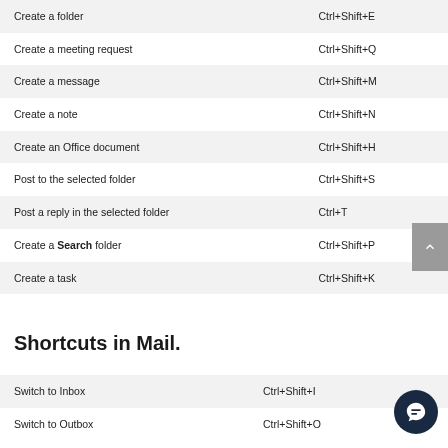| Action | Shortcut |
| --- | --- |
| Create a folder | Ctrl+Shift+E |
| Create a meeting request | Ctrl+Shift+Q |
| Create a message | Ctrl+Shift+M |
| Create a note | Ctrl+Shift+N |
| Create an Office document | Ctrl+Shift+H |
| Post to the selected folder | Ctrl+Shift+S |
| Post a reply in the selected folder | Ctrl+T |
| Create a Search folder | Ctrl+Shift+P |
| Create a task | Ctrl+Shift+K |
Shortcuts in Mail.
| Action | Shortcut |
| --- | --- |
| Switch to Inbox | Ctrl+Shift+I |
| Switch to Outbox | Ctrl+Shift+O |